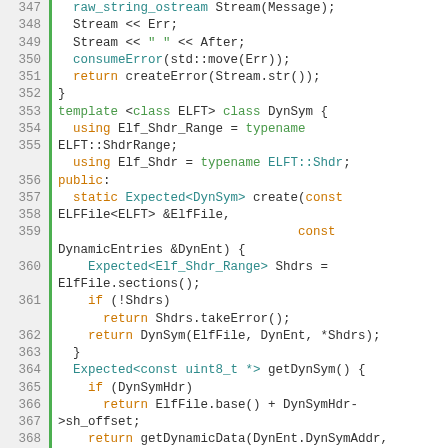[Figure (screenshot): Source code listing in C++ showing lines 347-374, with syntax highlighting. Green bar on left, line numbers in gray gutter, keywords in orange, types/identifiers in green/teal, string literals in green.]